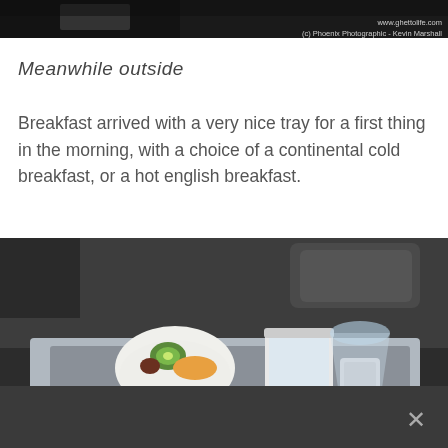[Figure (photo): Dark photograph, partially cropped at top — appears to show interior scene, dark background.]
www.ghettolife.com
(c) Phoenix Photographic - Kevin Marshall
Meanwhile outside
Breakfast arrived with a very nice tray for a first thing in the morning, with a choice of a continental cold breakfast, or a hot english breakfast.
[Figure (photo): Photograph of an airline meal tray on a tray table, showing a bowl of fruit (kiwi, melon), a white cup, a glass, cutlery in a bag, and a hot breakfast with egg and sausage.]